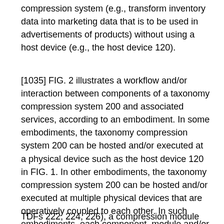compression system (e.g., transform inventory data into marketing data that is to be used in advertisements of products) without using a host device (e.g., the host device 120).
[1035] FIG. 2 illustrates a workflow and/or interaction between components of a taxonomy compression system 200 and associated services, according to an embodiment. In some embodiments, the taxonomy compression system 200 can be hosted and/or executed at a physical device such as the host device 120 in FIG. 1. In other embodiments, the taxonomy compression system 200 can be hosted and/or executed at multiple physical devices that are operatively coupled to each other. In such embodiments, each component, module and/or service of the taxonomy compression system 200 can be hosted and/or executed at one or more devices from those multiple physical devices. [1036] As shown in FIG. 2, the taxonomy compression system 200 includes one or more template mappers (e.g., template mappers 282, 284), template definition files (TDFs) (e.g.,
TDFs 222, 224, 226), a compression module 210, a